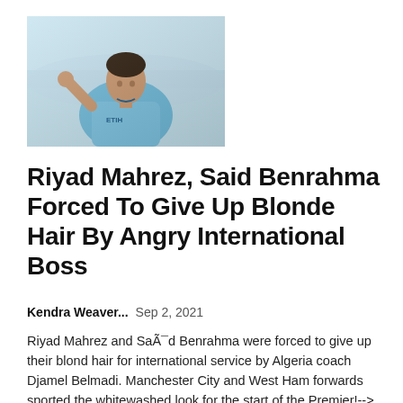[Figure (photo): Riyad Mahrez in a light blue Manchester City jersey with his hand raised, against a blurred stadium background.]
Riyad Mahrez, Said Benrahma Forced To Give Up Blonde Hair By Angry International Boss
Kendra Weaver...  Sep 2, 2021
Riyad Mahrez and Saïd Benrahma were forced to give up their blond hair for international service by Algeria coach Djamel Belmadi. Manchester City and West Ham forwards sported the whitewashed look for the start of the Premier!-->...